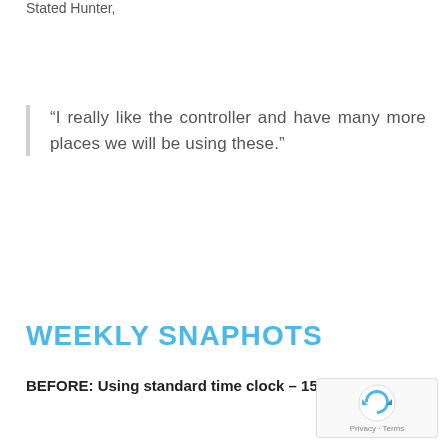Stated Hunter,
“I really like the controller and have many more places we will be using these.”
WEEKLY SNAPHOTS
BEFORE: Using standard time clock – 15 defro days.